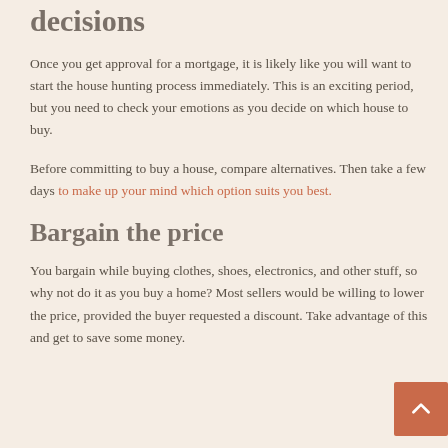decisions
Once you get approval for a mortgage, it is likely like you will want to start the house hunting process immediately. This is an exciting period, but you need to check your emotions as you decide on which house to buy.
Before committing to buy a house, compare alternatives. Then take a few days to make up your mind which option suits you best.
Bargain the price
You bargain while buying clothes, shoes, electronics, and other stuff, so why not do it as you buy a home? Most sellers would be willing to lower the price, provided the buyer requested a discount. Take advantage of this and get to save some money.